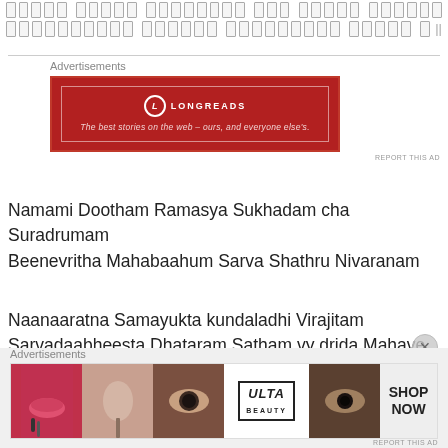[Devanagari script text - line 1]
[Devanagari script text - line 2]
[Figure (other): Longreads advertisement banner - red background with logo and tagline: The best stories on the web – ours, and everyone else's.]
Namami Dootham Ramasya Sukhadam cha Suradrumam Beenevritha Mahabaahum Sarva Shathru Nivaranam
Naanaaratna Samayukta kundaladhi Virajitam Sarvadaabheesta Dhataram Satham vy drida Mahave
[Figure (other): ULTA beauty advertisement banner with makeup images and SHOP NOW call to action]